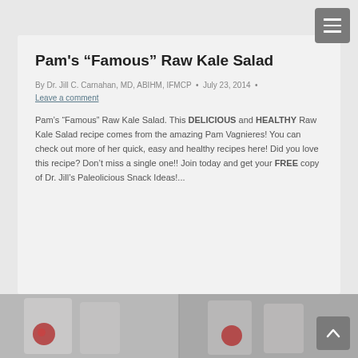Pam's “Famous” Raw Kale Salad
By Dr. Jill C. Carnahan, MD, ABIHM, IFMCP • July 23, 2014 • Leave a comment
Pam’s “Famous” Raw Kale Salad. This DELICIOUS and HEALTHY Raw Kale Salad recipe comes from the amazing Pam Vagnieres! You can check out more of her quick, easy and healthy recipes here! Did you love this recipe? Don’t miss a single one!! Join today and get your FREE copy of Dr. Jill’s Paleolicious Snack Ideas!...
[Figure (photo): Bottom strip showing a partial photo of what appears to be salad ingredients or drinks in glasses, partially visible]